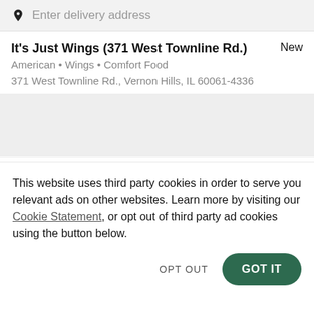Enter delivery address
It's Just Wings (371 West Townline Rd.)
American • Wings • Comfort Food
371 West Townline Rd., Vernon Hills, IL 60061-4336
[Figure (other): Map placeholder area (grey box)]
This website uses third party cookies in order to serve you relevant ads on other websites. Learn more by visiting our Cookie Statement, or opt out of third party ad cookies using the button below.
OPT OUT
GOT IT